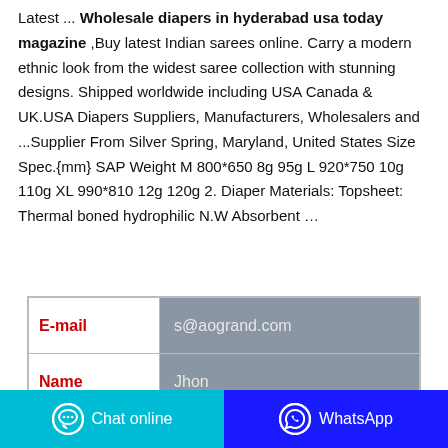Latest ... Wholesale diapers in hyderabad usa today magazine ,Buy latest Indian sarees online. Carry a modern ethnic look from the widest saree collection with stunning designs. Shipped worldwide including USA Canada & UK.USA Diapers Suppliers, Manufacturers, Wholesalers and ...Supplier From Silver Spring, Maryland, United States Size Spec.{mm} SAP Weight M 800*650 8g 95g L 920*750 10g 110g XL 990*810 12g 120g 2. Diaper Materials: Topsheet: Thermal boned hydrophilic N.W Absorbent ...
| E-mail | s@aogrand.com |
| --- | --- |
| Name | Jhon |
|  |  |
Chat online   WhatsApp